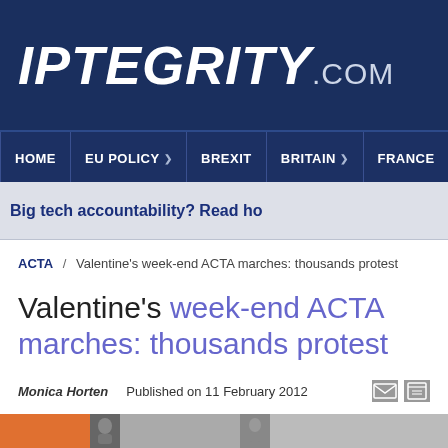IPTEGRITY.COM
HOME | EU POLICY | BREXIT | BRITAIN | FRANCE
Big tech accountability? Read ho
ACTA / Valentine's week-end ACTA marches: thousands protest
Valentine's week-end ACTA marches: thousands protest
Monica Horten   Published on 11 February 2012
[Figure (photo): Article header image strip showing partial photographs related to ACTA protests]